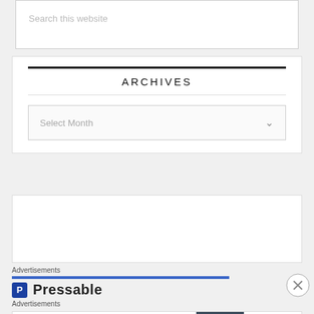Search this website
ARCHIVES
Select Month
Advertisements
[Figure (logo): Pressable logo with blue P icon and bold text]
Advertisements
[Figure (photo): Bloomingdale's advertisement banner - View Today's Top Deals! SHOP NOW >]